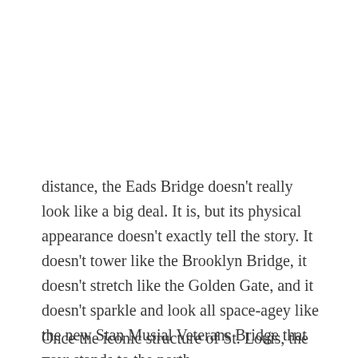distance, the Eads Bridge doesn't really look like a big deal. It is, but its physical appearance doesn't exactly tell the story. It doesn't tower like the Brooklyn Bridge, it doesn't stretch like the Golden Gate, and it doesn't sparkle and look all space-agey like the new Stan Musial Veterans Bridge that now stands to the north.
Once the iconic structure of St. Louis, the Eads